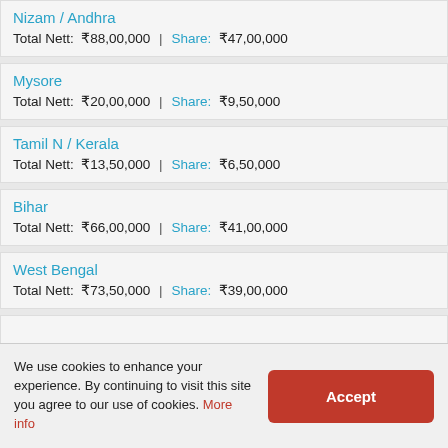Nizam / Andhra
Total Nett: ₹88,00,000 | Share: ₹47,00,000
Mysore
Total Nett: ₹20,00,000 | Share: ₹9,50,000
Tamil N / Kerala
Total Nett: ₹13,50,000 | Share: ₹6,50,000
Bihar
Total Nett: ₹66,00,000 | Share: ₹41,00,000
West Bengal
Total Nett: ₹73,50,000 | Share: ₹39,00,000
We use cookies to enhance your experience. By continuing to visit this site you agree to our use of cookies. More info